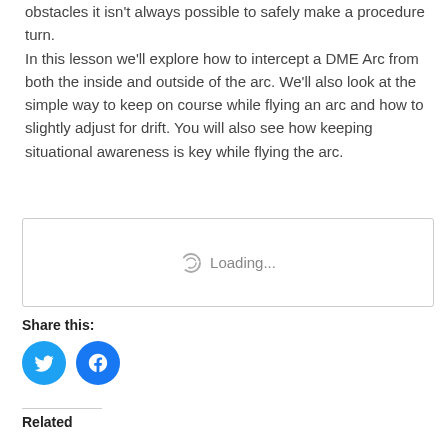obstacles it isn't always possible to safely make a procedure turn.
In this lesson we'll explore how to intercept a DME Arc from both the inside and outside of the arc. We'll also look at the simple way to keep on course while flying an arc and how to slightly adjust for drift. You will also see how keeping situational awareness is key while flying the arc.
[Figure (other): Loading spinner with 'Loading...' text inside a bordered rectangle box]
Share this:
[Figure (other): Twitter share button (blue circle with bird icon) and Facebook share button (blue circle with f icon)]
Related